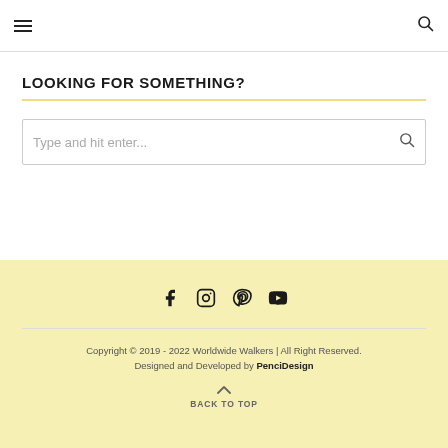Navigation header with hamburger menu and search icon
LOOKING FOR SOMETHING?
[Figure (other): Search input box with placeholder text 'Type and hit enter...' and a search icon on the right]
Social icons (Facebook, Instagram, Pinterest, YouTube). Copyright © 2019 - 2022 Worldwide Walkers | All Right Reserved. Designed and Developed by PenciDesign. BACK TO TOP